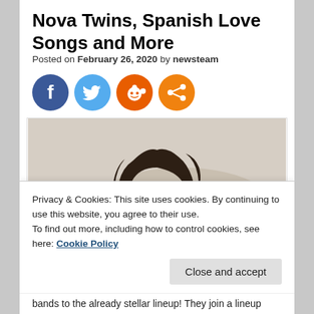Nova Twins, Spanish Love Songs and More
Posted on February 26, 2020 by newsteam
[Figure (other): Social media share icons: Facebook (blue circle), Twitter (light blue circle), Reddit (orange circle), Share (orange circle)]
[Figure (photo): Portrait photo of a person with dark, tousled medium-length hair, wearing a dark jacket, looking at the camera against a light background]
Privacy & Cookies: This site uses cookies. By continuing to use this website, you agree to their use.
To find out more, including how to control cookies, see here: Cookie Policy
Close and accept
bands to the already stellar lineup! They join a lineup